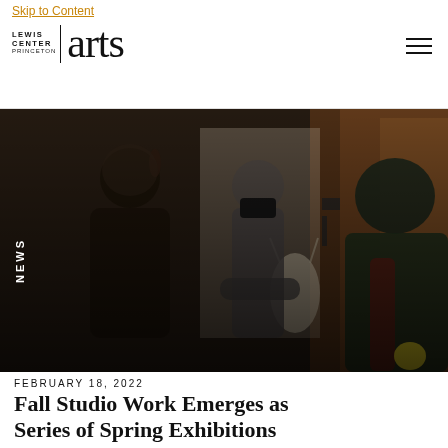Skip to Content | Lewis Center for the Arts Princeton | arts | [menu icon]
Skip to Content
[Figure (photo): Three people in what appears to be an art studio or workspace. A person with a ponytail in a dark outfit on the left, a person wearing a black mask in the center, and a person in a dark green jacket on the right. Wooden walls/doors visible in the background. The image has dark, moody lighting.]
NEWS
FEBRUARY 18, 2022
Fall Studio Work Emerges as Series of Spring Exhibitions